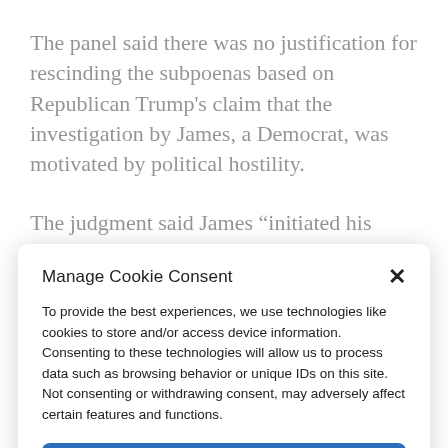The panel said there was no justification for rescinding the subpoenas based on Republican Trump's claim that the investigation by James, a Democrat, was motivated by political hostility.
The judgment said James “initiated his investigation after public testimony from a
Manage Cookie Consent
To provide the best experiences, we use technologies like cookies to store and/or access device information. Consenting to these technologies will allow us to process data such as browsing behavior or unique IDs on this site. Not consenting or withdrawing consent, may adversely affect certain features and functions.
Accept
Cookie Policy